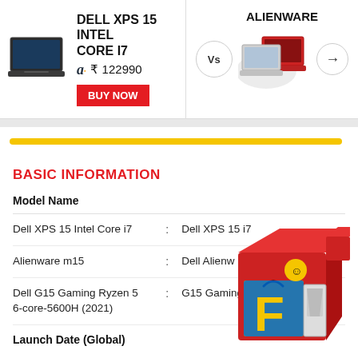[Figure (screenshot): Product comparison banner: Dell XPS 15 Intel Core i7 laptop with Amazon price ₹122990 and BUY NOW button on left; Alienware laptops on right with Vs circle and arrow]
BASIC INFORMATION
| Model Name |  |  |
| --- | --- | --- |
| Dell XPS 15 Intel Core i7 | : | Dell XPS 15 i7 |
| Alienware m15 | : | Dell Alienw... |
| Dell G15 Gaming Ryzen 5 6-core-5600H (2021) | : | G15 Gaming... |
Launch Date (Global)
[Figure (illustration): Flipkart promotional box/cube illustration with Flipkart logo and shopping bag, partially overlapping content]